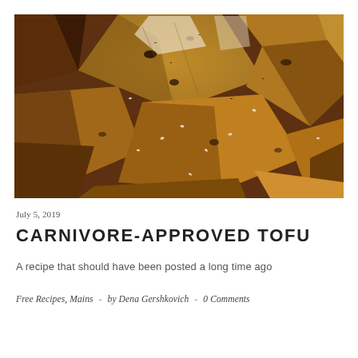[Figure (photo): Close-up overhead photo of crispy tofu pieces, golden-brown and dark, seasoned with sesame seeds and spices, filling the entire frame.]
July 5, 2019
CARNIVORE-APPROVED TOFU
A recipe that should have been posted a long time ago
Free Recipes, Mains  -  by Dena Gershkovich  -  0 Comments